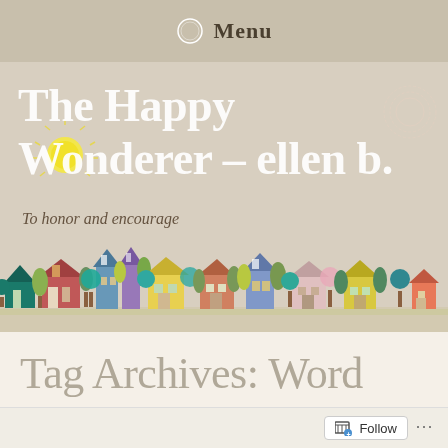Menu
[Figure (illustration): Blog header banner for 'The Happy Wondererer – ellen b.' with subtitle 'To honor and encourage', featuring a colorful illustrated village scene with stylized houses, trees, and a sun on a beige textured background]
The Happy Wondererer – ellen b.
To honor and encourage
Tag Archives: Word
Truth from A to Z ~ W is for...
Follow ...